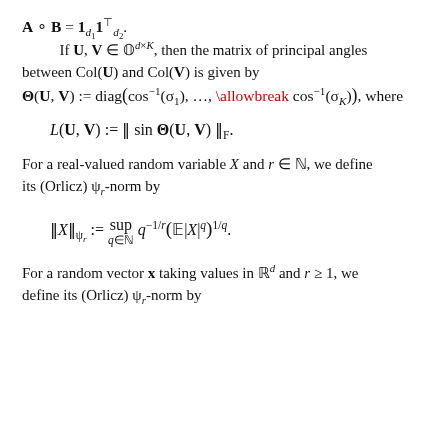If U, V ∈ O^{d×K}, then the matrix of principal angles between Col(U) and Col(V) is given by
For a real-valued random variable X and r ∈ N, we define its (Orlicz) ψ_r-norm by
For a random vector x taking values in R^d and r ≥ 1, we define its (Orlicz) ψ_r-norm by